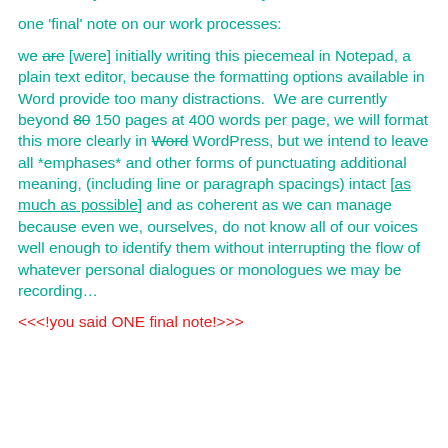ourselves, yourselves, or even everyone…
one 'final' note on our work processes:
we are [were] initially writing this piecemeal in Notepad, a plain text editor, because the formatting options available in Word provide too many distractions.  We are currently beyond 80 150 pages at 400 words per page, we will format this more clearly in Word WordPress, but we intend to leave all *emphases* and other forms of punctuating additional meaning, (including line or paragraph spacings) intact [as much as possible] and as coherent as we can manage because even we, ourselves, do not know all of our voices well enough to identify them without interrupting the flow of whatever personal dialogues or monologues we may be recording…
<<<! you said ONE final note!>>>